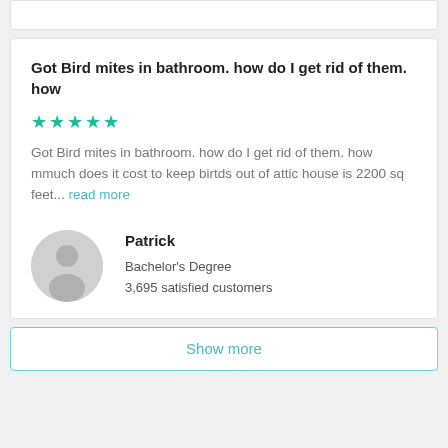Got Bird mites in bathroom. how do I get rid of them. how
★★★★★
Got Bird mites in bathroom. how do I get rid of them. how mmuch does it cost to keep birtds out of attic house is 2200 sq feet... read more
Patrick
Bachelor's Degree
3,695 satisfied customers
Show more